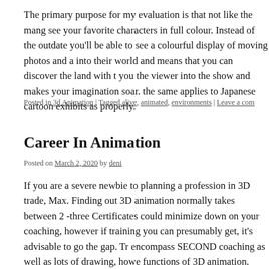The primary purpose for my evaluation is that not like the mang see your favorite characters in full colour. Instead of the outdate you'll be able to see a colourful display of moving photos and a into their world and means that you can discover the land with t you the viewer into the show and makes your imagination soar. the same applies to Japanese cartoon exhibits as properly.
Posted in 3d Animation | Tagged alive, animated, environments | Leave a co...
Career In Animation
Posted on March 2, 2020 by deni
If you are a severe newbie to planning a profession in 3D trade, Max. Finding out 3D animation normally takes between 2 -three Certificates could minimize down on your coaching, however if training you can presumably get, it's advisable to go the gap. Tr encompass SECOND coaching as well as lots of drawing, howe functions of 3D animation. Animation practices are additionall